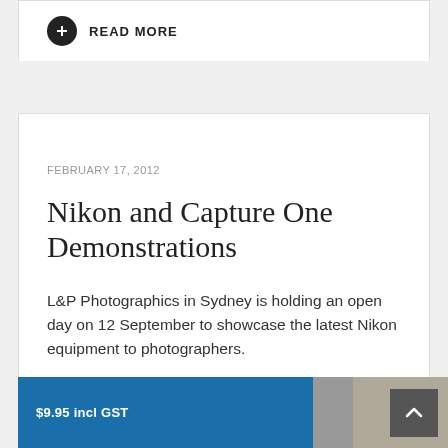READ MORE
FEBRUARY 17, 2012
Nikon and Capture One Demonstrations
L&P Photographics in Sydney is holding an open day on 12 September to showcase the latest Nikon equipment to photographers.
READ MORE
$9.95 incl GST